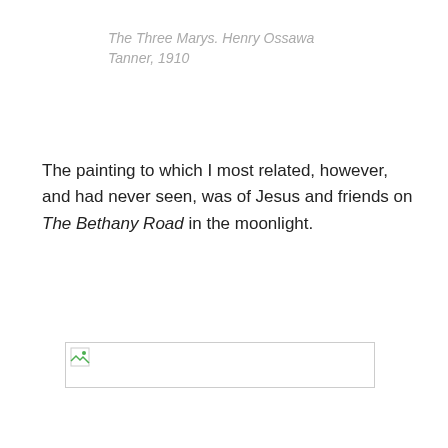The Three Marys. Henry Ossawa Tanner, 1910
The painting to which I most related, however, and had never seen, was of Jesus and friends on The Bethany Road in the moonlight.
[Figure (photo): Broken image placeholder — wide horizontal rectangle with a small broken image icon in the top-left corner]